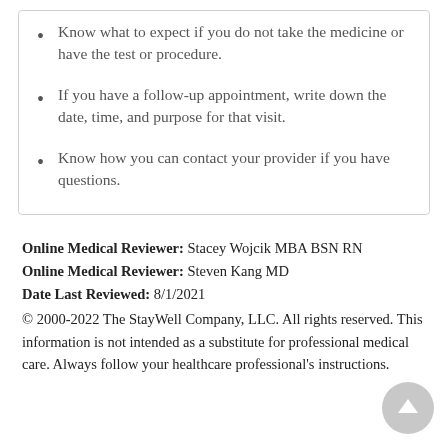Know what to expect if you do not take the medicine or have the test or procedure.
If you have a follow-up appointment, write down the date, time, and purpose for that visit.
Know how you can contact your provider if you have questions.
Online Medical Reviewer: Stacey Wojcik MBA BSN RN
Online Medical Reviewer: Steven Kang MD
Date Last Reviewed: 8/1/2021
© 2000-2022 The StayWell Company, LLC. All rights reserved. This information is not intended as a substitute for professional medical care. Always follow your healthcare professional's instructions.